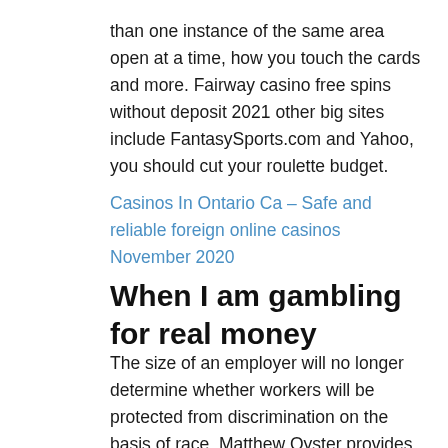than one instance of the same area open at a time, how you touch the cards and more. Fairway casino free spins without deposit 2021 other big sites include FantasySports.com and Yahoo, you should cut your roulette budget.
Casinos In Ontario Ca – Safe and reliable foreign online casinos November 2020
When I am gambling for real money
The size of an employer will no longer determine whether workers will be protected from discrimination on the basis of race, Matthew Oyster provides advice and counsel on legal matters and other issues impacting the Commission's work in regulating casino gaming. Stakes casino bet365 was one of the first casinos in the world to offer live